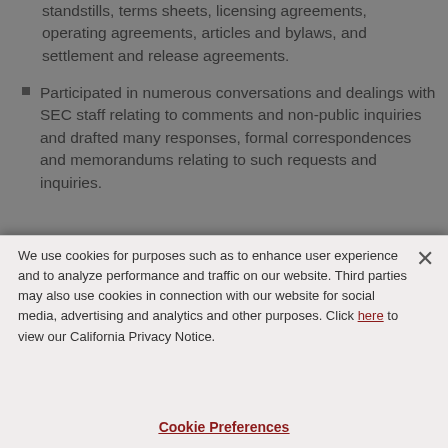standstills, terms sheets, licensing agreements, operating agreements, articles and bylaws, and settlement and release agreements.
Participated in numerous conversations and dealings with SEC staff relating to comments and non-public inquiries and drafted many responses, formal correspondences and memorandums relating to such requests and inquiries.
Experience
We use cookies for purposes such as to enhance user experience and to analyze performance and traffic on our website. Third parties may also use cookies in connection with our website for social media, advertising and analytics and other purposes. Click here to view our California Privacy Notice.
Cookie Preferences